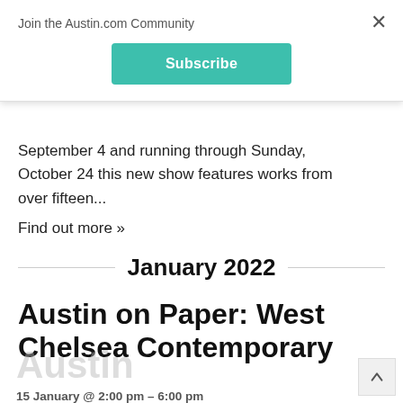Join the Austin.com Community
Subscribe
September 4 and running through Sunday, October 24 this new show features works from over fifteen...
Find out more »
January 2022
Austin on Paper: West Chelsea Contemporary
Austin
15 January @ 2:00 pm - 6:00 pm